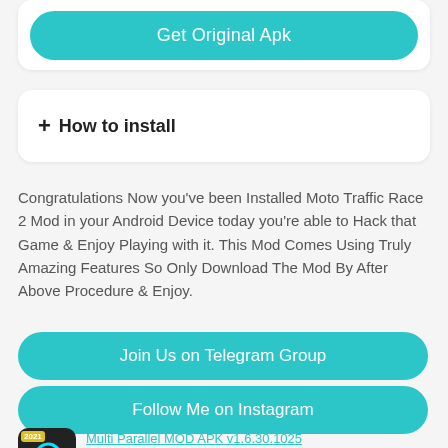[Figure (other): Teal rounded button labeled 'Get Original Apk']
+ How to install
Congratulations Now you've been Installed Moto Traffic Race 2 Mod in your Android Device today you're able to Hack that Game & Enjoy Playing with it. This Mod Comes Using Truly Amazing Features So Only Download The Mod By After Above Procedure & Enjoy.
[Figure (other): Teal rounded button labeled 'Join Us on Telegram Group']
[Figure (other): Teal rounded button labeled 'Follow Me on Instagram']
[Figure (other): App icon thumbnail for Multi Parallel MOD APK with 2021 badge]
Multi Parallel MOD APK v1.6.30.1025 (Premium/Unlocked)